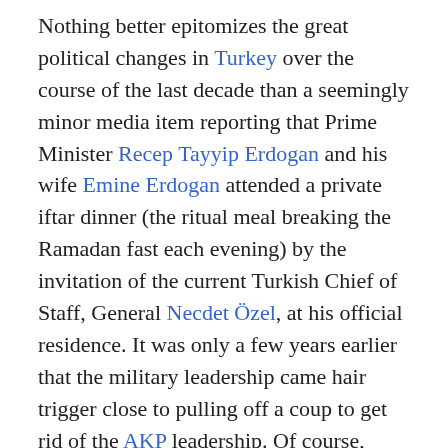Nothing better epitomizes the great political changes in Turkey over the course of the last decade than a seemingly minor media item reporting that Prime Minister Recep Tayyip Erdogan and his wife Emine Erdogan attended a private iftar dinner (the ritual meal breaking the Ramadan fast each evening) by the invitation of the current Turkish Chief of Staff, General Necdet Özel, at his official residence. It was only a few years earlier that the military leadership came hair trigger close to pulling off a coup to get rid of the AKP leadership. Of course, such a military intrusion on Turkish political life would have been nothing new. Turkey experienced a series of coups during its republican life that started in 1923.
The most recent example of interference by the military with the elected leadership in Turkey took place in 1997